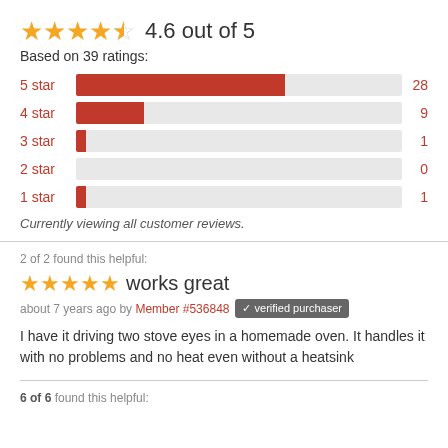[Figure (other): Star rating display: 4 full gold stars and 1 half gold star, showing 4.6 out of 5]
4.6 out of 5
Based on 39 ratings:
[Figure (bar-chart): Star rating distribution]
Currently viewing all customer reviews.
2 of 2 found this helpful:
works great
about 7 years ago by Member #536848 ✓ verified purchaser
I have it driving two stove eyes in a homemade oven. It handles it with no problems and no heat even without a heatsink
6 of 6 found this helpful: